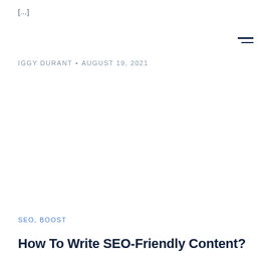[…]
IGGY DURANT • AUGUST 19, 2021
SEO, BOOST
How To Write SEO-Friendly Content?